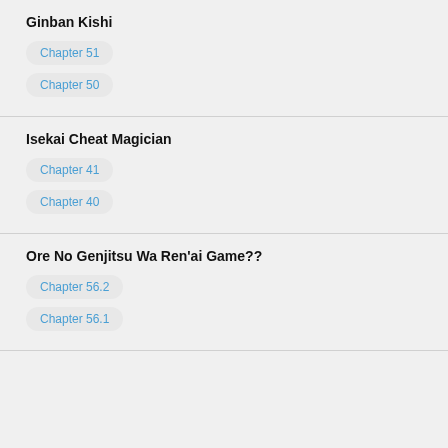Ginban Kishi
Chapter 51
Chapter 50
Isekai Cheat Magician
Chapter 41
Chapter 40
Ore No Genjitsu Wa Ren'ai Game??
Chapter 56.2
Chapter 56.1